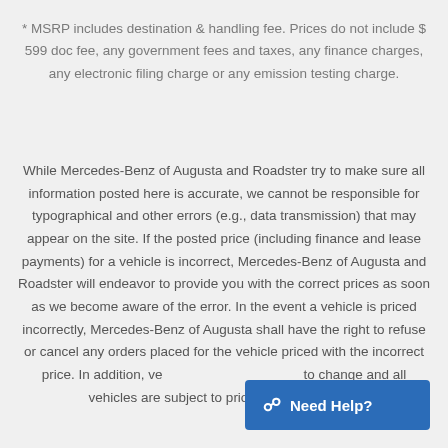* MSRP includes destination & handling fee. Prices do not include $599 doc fee, any government fees and taxes, any finance charges, any electronic filing charge or any emission testing charge.
While Mercedes-Benz of Augusta and Roadster try to make sure all information posted here is accurate, we cannot be responsible for typographical and other errors (e.g., data transmission) that may appear on the site. If the posted price (including finance and lease payments) for a vehicle is incorrect, Mercedes-Benz of Augusta and Roadster will endeavor to provide you with the correct prices as soon as we become aware of the error. In the event a vehicle is priced incorrectly, Mercedes-Benz of Augusta shall have the right to refuse or cancel any orders placed for the vehicle priced with the incorrect price. In addition, vehicle prices are subject to change and all vehicles are subject to prior sale and may not